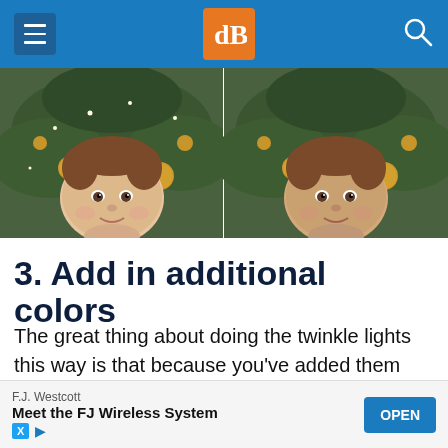dPS (Digital Photography School) – navigation header
[Figure (photo): Two side-by-side photos of a baby in front of a Christmas tree with gold ornaments]
3. Add in additional colors
The great thing about doing the twinkle lights this way is that because you've added them onto a transparent layer, you can move them around and resize them as you need.
[Figure (other): Advertisement banner: F.J. Westcott – Meet the FJ Wireless System – OPEN button]